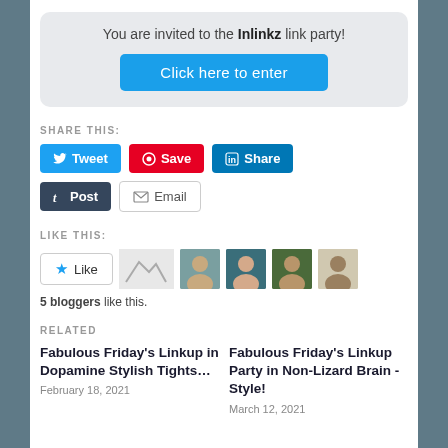You are invited to the Inlinkz link party!
Click here to enter
SHARE THIS:
Tweet | Save | Share | Post | Email
LIKE THIS:
5 bloggers like this.
RELATED
Fabulous Friday's Linkup in Dopamine Stylish Tights…
February 18, 2021
Fabulous Friday's Linkup Party in Non-Lizard Brain - Style!
March 12, 2021